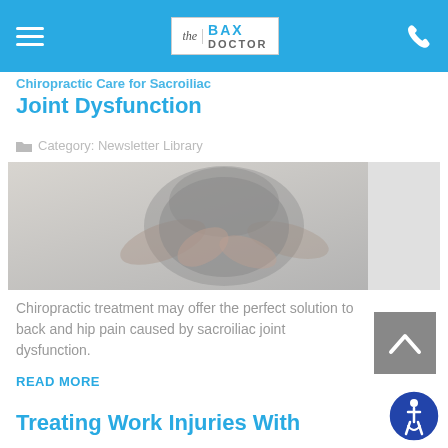The Bax Doctor
Chiropractic Care for Sacroiliac Joint Dysfunction
Category: Newsletter Library
[Figure (photo): Person holding their lower back/hip area, wearing a grey t-shirt, indicating back pain.]
Chiropractic treatment may offer the perfect solution to back and hip pain caused by sacroiliac joint dysfunction.
READ MORE
Treating Work Injuries With